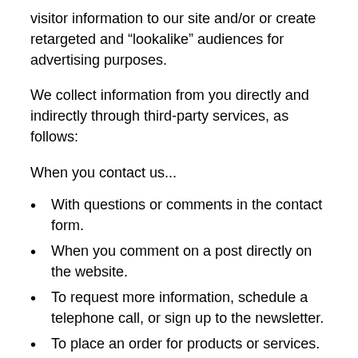visitor information to our site and/or or create retargeted and “lookalike” audiences for advertising purposes.
We collect information from you directly and indirectly through third-party services, as follows:
When you contact us...
With questions or comments in the contact form.
When you comment on a post directly on the website.
To request more information, schedule a telephone call, or sign up to the newsletter.
To place an order for products or services.
To receive your product or services.